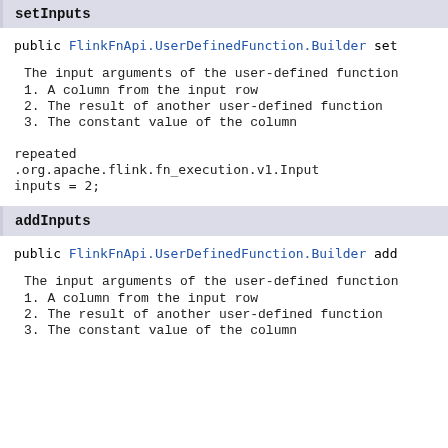setInputs
public FlinkFnApi.UserDefinedFunction.Builder set
The input arguments of the user-defined function
1. A column from the input row
2. The result of another user-defined function
3. The constant value of the column
repeated
.org.apache.flink.fn_execution.v1.Input
inputs = 2;
addInputs
public FlinkFnApi.UserDefinedFunction.Builder add
The input arguments of the user-defined function
1. A column from the input row
2. The result of another user-defined function
3. The constant value of the column